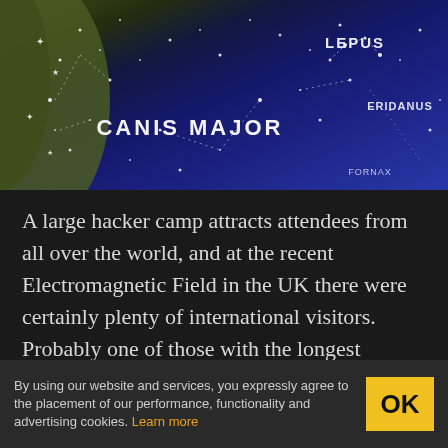[Figure (photo): Close-up photograph of a knitted or embroidered star map/celestial globe showing constellation patterns in white on dark navy blue fabric, with text labels including 'CANIS MAJOR', 'LEPUS', and 'ERIDANUS' stitched in white capital letters against the blue background. The left portion shows an olive/green colored section.]
A large hacker camp attracts attendees from all over the world, and at the recent Electromagnetic Field in the UK there were certainly plenty of international visitors. Probably one of those with the longest journey was [Sarah Spencer] from Australia, and she deserves our admiration not just for her work but also for devoting much of her meagre luggage space to the installation she'd
By using our website and services, you expressly agree to the placement of our performance, functionality and advertising cookies. Learn more